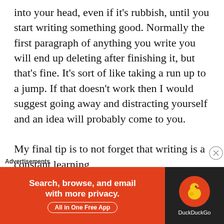into your head, even if it's rubbish, until you start writing something good. Normally the first paragraph of anything you write you will end up deleting after finishing it, but that's fine. It's sort of like taking a run up to a jump. If that doesn't work then I would suggest going away and distracting yourself and an idea will probably come to you.

My final tip is to not forget that writing is a constant learning
[Figure (other): DuckDuckGo advertisement banner: orange left panel with text 'Search, browse, and email with more privacy. All in One Free App' and dark right panel with DuckDuckGo logo and name.]